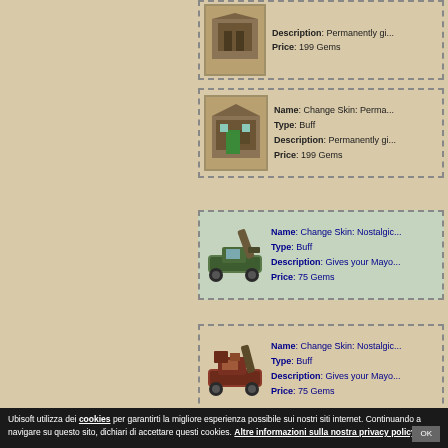[Figure (screenshot): Game item listing page showing in-game store items with images, names, types, descriptions and prices in a wiki-style layout. Left panel is tan/beige. Right panel shows item boxes with dashed borders.]
Name: Change Skin: Perma... Type: Buff Description: Permanently gi... Price: 199 Gems
Name: Change Skin: Perma... Type: Buff Description: Permanently gi... Price: 199 Gems
Name: Change Skin: Nostalgic... Type: Buff Description: Gives your Mayo... Price: 75 Gems
Name: Change Skin: Nostalgic... Type: Buff Description: Gives your Mayo... Price: 75 Gems
Ubisoft utilizza dei cookies per garantirti la migliore esperienza possibile sui nostri siti internet. Continuando a navigare su questo sito, dichiari di accettare questi cookies. Altre informazioni sulla nostra privacy policy